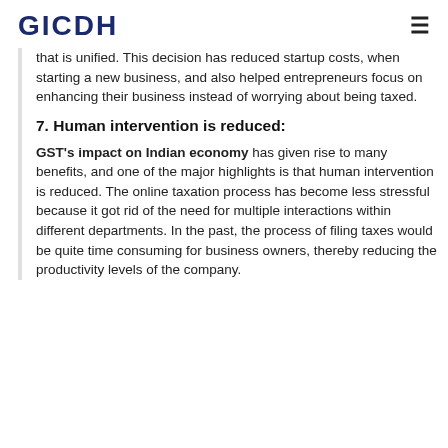GICDH
that is unified. This decision has reduced startup costs, when starting a new business, and also helped entrepreneurs focus on enhancing their business instead of worrying about being taxed.
7. Human intervention is reduced:
GST's impact on Indian economy has given rise to many benefits, and one of the major highlights is that human intervention is reduced. The online taxation process has become less stressful because it got rid of the need for multiple interactions within different departments. In the past, the process of filing taxes would be quite time consuming for business owners, thereby reducing the productivity levels of the company.